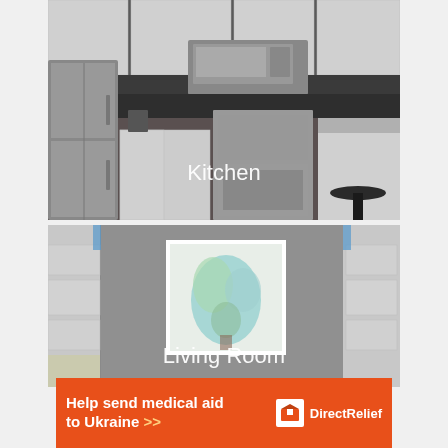[Figure (photo): Kitchen photo with white cabinets, stainless steel appliances including refrigerator, microwave and oven range, dark backsplash, white island, black stool, and 'Kitchen' label overlaid in white text]
[Figure (photo): Living room photo with a framed watercolor painting on wall, white built-in shelving on sides, and 'Living Room' label overlaid in white text]
[Figure (infographic): Orange advertisement banner reading 'Help send medical aid to Ukraine >>' with Direct Relief logo on the right side]